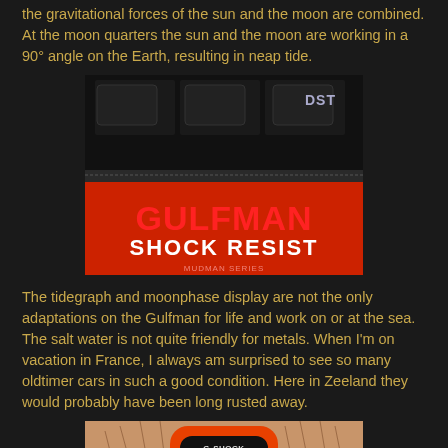the gravitational forces of the sun and the moon are combined. At the moon quarters the sun and the moon are working in a 90° angle on the Earth, resulting in neap tide.
[Figure (photo): Close-up photo of a Casio G-Shock Gulfman watch box/packaging showing red and black design with text 'GULFMAN' in red and 'SHOCK RESIST' in white on orange background, with 'DST' visible in upper right.]
The tidegraph and moonphase display are not the only adaptations on the Gulfman for life and work on or at the sea. The salt water is not quite friendly for metals. When I'm on vacation in France, I always am surprised to see so many oldtimer cars in such a good condition. Here in Zeeland they would probably have been long rusted away.
[Figure (photo): Photo of a Casio G-Shock watch with orange and black casing worn on a hairy wrist, showing digital display with 'WED 8 10' visible.]